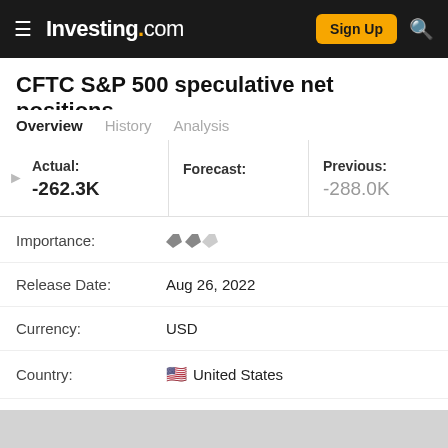Investing.com — Sign Up
CFTC S&P 500 speculative net positions
Overview | History | Analysis
| Actual: | Forecast: | Previous: |
| --- | --- | --- |
| -262.3K |  | -288.0K |
| Label | Value |
| --- | --- |
| Importance: | ▼ ▼ ▼ (2 filled, 1 light) |
| Release Date: | Aug 26, 2022 |
| Currency: | USD |
| Country: | 🇺🇸 United States |
| Source Of Report: | CFTC Commitment of Traders |